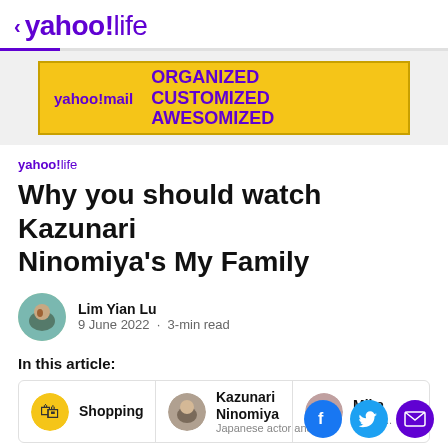< yahoo!life
[Figure (screenshot): Yahoo Mail advertisement banner: yahoo!mail logo on left, 'ORGANIZED CUSTOMIZED AWESOMIZED' text on right, yellow background with purple text]
yahoo!life
Why you should watch Kazunari Ninomiya's My Family
Lim Yian Lu
9 June 2022 · 3-min read
In this article:
Shopping | Kazunari Ninomiya Japanese actor and s... | Mika Japan...